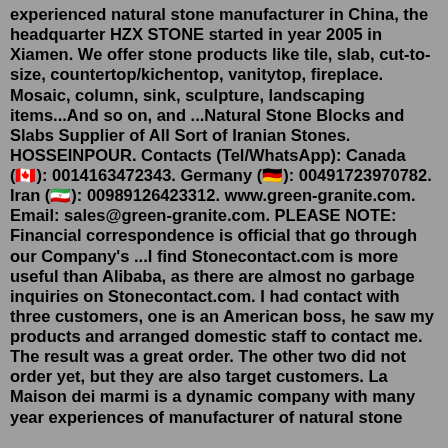experienced natural stone manufacturer in China, the headquarter HZX STONE started in year 2005 in Xiamen. We offer stone products like tile, slab, cut-to-size, countertop/kichentop, vanitytop, fireplace. Mosaic, column, sink, sculpture, landscaping items...And so on, and ...Natural Stone Blocks and Slabs Supplier of All Sort of Iranian Stones. HOSSEINPOUR. Contacts (Tel/WhatsApp): Canada (🇨🇦): 0014163472343. Germany (🇩🇪): 00491723970782. Iran (🇮🇷): 00989126423312. www.green-granite.com. Email: sales@green-granite.com. PLEASE NOTE: Financial correspondence is official that go through our Company's ...I find Stonecontact.com is more useful than Alibaba, as there are almost no garbage inquiries on Stonecontact.com. I had contact with three customers, one is an American boss, he saw my products and arranged domestic staff to contact me. The result was a great order. The other two did not order yet, but they are also target customers. La Maison dei marmi is a dynamic company with many year experiences of manufacturer of natural stone